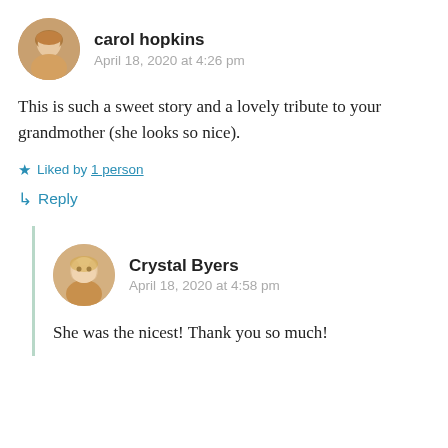carol hopkins
April 18, 2020 at 4:26 pm
This is such a sweet story and a lovely tribute to your grandmother (she looks so nice).
Liked by 1 person
Reply
Crystal Byers
April 18, 2020 at 4:58 pm
She was the nicest! Thank you so much!